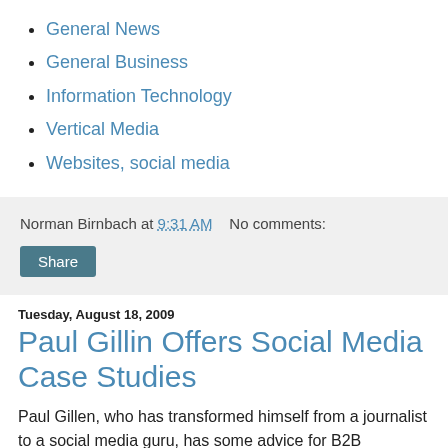General News
General Business
Information Technology
Vertical Media
Websites, social media
Norman Birnbach at 9:31 AM   No comments:
Share
Tuesday, August 18, 2009
Paul Gillin Offers Social Media Case Studies
Paul Gillen, who has transformed himself from a journalist to a social media guru, has some advice for B2B companies in BtoBOnline magazine. His "Tap into social communities: 5 tips for marketers seeking to connect with prospective customers online" doesn't provide new ideas. But it does